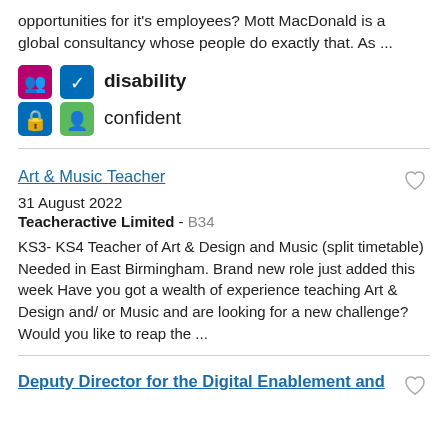opportunities for it's employees? Mott MacDonald is a global consultancy whose people do exactly that. As ...
[Figure (logo): Disability Confident logo with four colored icons and text 'disability confident']
Art & Music Teacher
31 August 2022
Teacheractive Limited - B34
KS3- KS4 Teacher of Art & Design and Music (split timetable) Needed in East Birmingham. Brand new role just added this week Have you got a wealth of experience teaching Art & Design and/ or Music and are looking for a new challenge? Would you like to reap the ...
Deputy Director for the Digital Enablement and